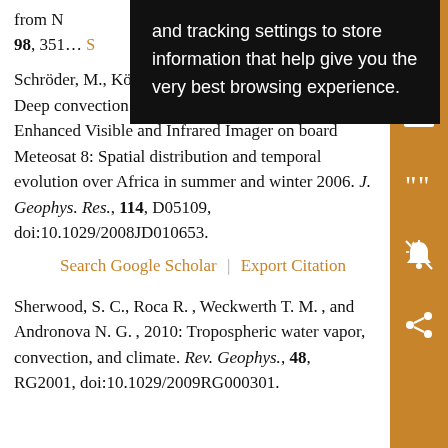from N…ol., 98, 351…
and tracking settings to store information that help give you the very best browsing experience.
Schröder, M., König M. , and Schmetz J. , 2009: Deep convection observed by the Spinning Enhanced Visible and Infrared Imager on board Meteosat 8: Spatial distribution and temporal evolution over Africa in summer and winter 2006. J. Geophys. Res., 114, D05109, doi:10.1029/2008JD010653.
Search Google Scholar | Export Citation
Sherwood, S. C., Roca R. , Weckwerth T. M. , and Andronova N. G. , 2010: Tropospheric water vapor, convection, and climate. Rev. Geophys., 48, RG2001, doi:10.1029/2009RG000301.